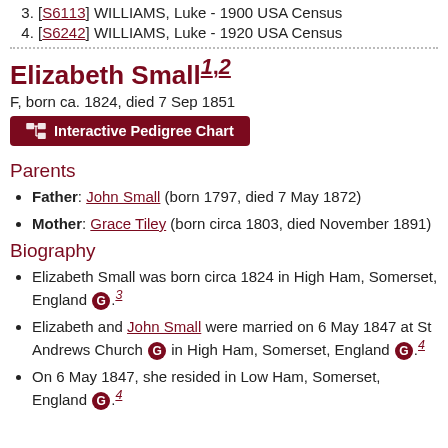3. [S6113] WILLIAMS, Luke - 1900 USA Census
4. [S6242] WILLIAMS, Luke - 1920 USA Census
Elizabeth Small1,2
F, born ca. 1824, died 7 Sep 1851
Parents
Father: John Small (born 1797, died 7 May 1872)
Mother: Grace Tiley (born circa 1803, died November 1891)
Biography
Elizabeth Small was born circa 1824 in High Ham, Somerset, England G .3
Elizabeth and John Small were married on 6 May 1847 at St Andrews Church G in High Ham, Somerset, England G .4
On 6 May 1847, she resided in Low Ham, Somerset, England G .4